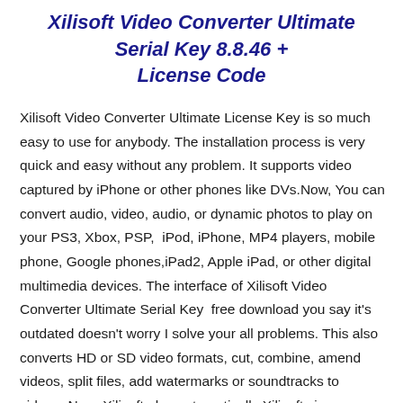Xilisoft Video Converter Ultimate Serial Key 8.8.46 + License Code
Xilisoft Video Converter Ultimate License Key is so much easy to use for anybody. The installation process is very quick and easy without any problem. It supports video captured by iPhone or other phones like DVs.Now, You can convert audio, video, audio, or dynamic photos to play on your PS3, Xbox, PSP,  iPod, iPhone, MP4 players, mobile phone, Google phones,iPad2, Apple iPad, or other digital multimedia devices. The interface of Xilisoft Video Converter Ultimate Serial Key  free download you say it’s outdated doesn’t worry I solve your all problems. This also converts HD or SD video formats, cut, combine, amend videos, split files, add watermarks or soundtracks to videos. Now, Xilisoft also automatically Xilisoft vi...